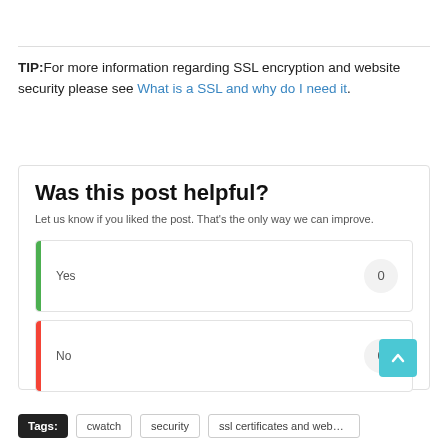TIP: For more information regarding SSL encryption and website security please see What is a SSL and why do I need it.
Was this post helpful?
Let us know if you liked the post. That’s the only way we can improve.
Yes 0
No 0
Tags: cwatch security ssl certificates and website